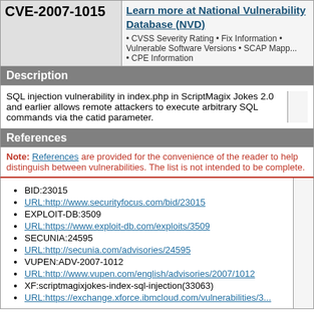CVE-2007-1015
Learn more at National Vulnerability Database (NVD) • CVSS Severity Rating • Fix Information • Vulnerable Software Versions • SCAP Mappings • CPE Information
Description
SQL injection vulnerability in index.php in ScriptMagix Jokes 2.0 and earlier allows remote attackers to execute arbitrary SQL commands via the catid parameter.
References
Note: References are provided for the convenience of the reader to help distinguish between vulnerabilities. The list is not intended to be complete.
BID:23015
URL:http://www.securityfocus.com/bid/23015
EXPLOIT-DB:3509
URL:https://www.exploit-db.com/exploits/3509
SECUNIA:24595
URL:http://secunia.com/advisories/24595
VUPEN:ADV-2007-1012
URL:http://www.vupen.com/english/advisories/2007/1012
XF:scriptmagixjokes-index-sql-injection(33063)
URL:https://exchange.xforce.ibmcloud.com/vulnerabilities/33...